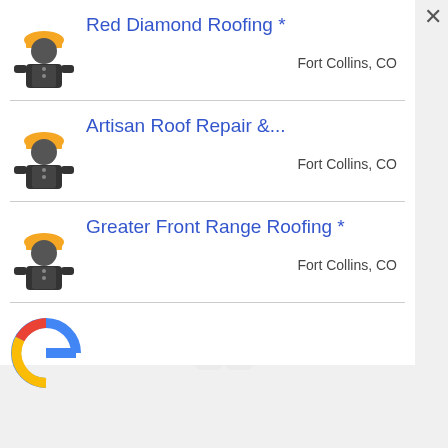Red Diamond Roofing *
Fort Collins, CO
Artisan Roof Repair &...
Fort Collins, CO
Greater Front Range Roofing *
Fort Collins, CO
[Figure (illustration): Partial Google logo G visible at bottom of list]